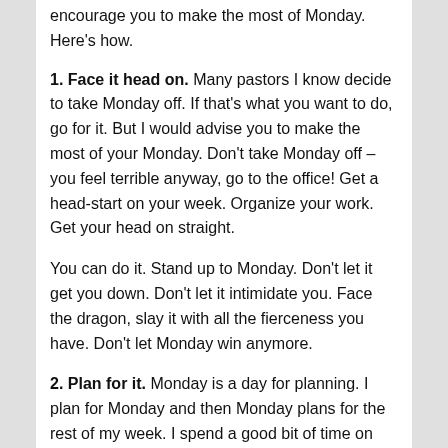encourage you to make the most of Monday. Here’s how.
1. Face it head on. Many pastors I know decide to take Monday off. If that’s what you want to do, go for it. But I would advise you to make the most of your Monday. Don’t take Monday off – you feel terrible anyway, go to the office! Get a head-start on your week. Organize your work. Get your head on straight.
You can do it. Stand up to Monday. Don’t let it get you down. Don’t let it intimidate you. Face the dragon, slay it with all the fierceness you have. Don’t let Monday win anymore.
2. Plan for it. Monday is a day for planning. I plan for Monday and then Monday plans for the rest of my week. I spend a good bit of time on Monday planning. I plan for our leadership meeting that afternoon, I plan for my sermon preparation, I plan for meetings throughout the week, and I plan for events down the road.